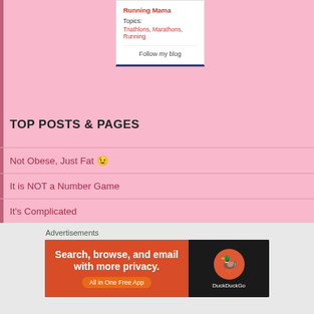Running Mama
Topics: Triathlons, Marathons, Running
Follow my blog
TOP POSTS & PAGES
Not Obese, Just Fat 😉
It is NOT a Number Game
It's Complicated
Seriously, Seriously, Seriously
Taking Back The Keys
Perfection is a Myth
Advertisements
[Figure (screenshot): DuckDuckGo advertisement banner: Search, browse, and email with more privacy. All in One Free App]